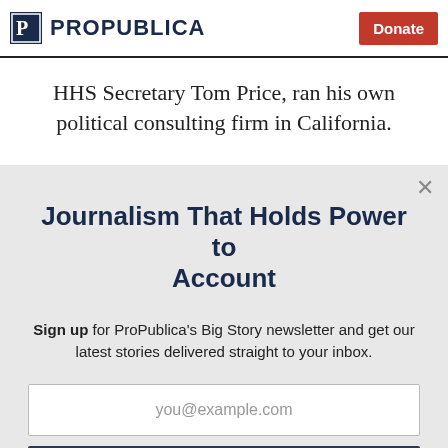ProPublica | Donate
HHS Secretary Tom Price, ran his own political consulting firm in California.
Journalism That Holds Power to Account
Sign up for ProPublica's Big Story newsletter and get our latest stories delivered straight to your inbox.
you@example.com
Get the Newsletter
No thanks, I'm all set
This site is protected by reCAPTCHA and the Google Privacy Policy and Terms of Service apply.